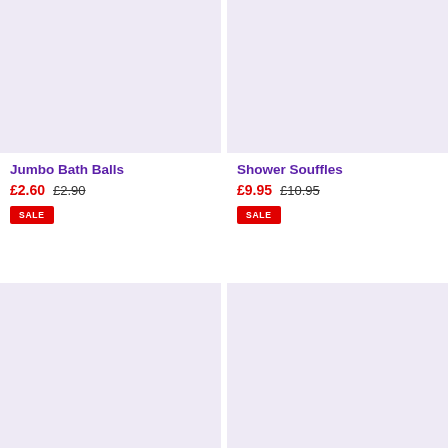[Figure (photo): Product image placeholder - lavender/light purple background, top left]
Jumbo Bath Balls
£2.60  £2.90
SALE
[Figure (photo): Product image placeholder - lavender/light purple background, top right]
Shower Souffles
£9.95  £10.95
SALE
[Figure (photo): Product image placeholder - lavender/light purple background, bottom left]
[Figure (photo): Product image placeholder - lavender/light purple background, bottom right]